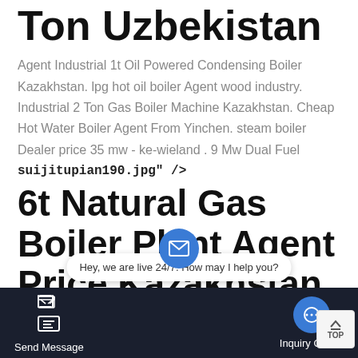Ton Uzbekistan
Agent Industrial 1t Oil Powered Condensing Boiler Kazakhstan. lpg hot oil boiler Agent wood industry. Industrial 2 Ton Gas Boiler Machine Kazakhstan. Cheap Hot Water Boiler Agent From Yinchen. steam boiler Dealer price 35 mw - ke-wieland . 9 Mw Dual Fuel
suijitupian190.jpg" />
6t Natural Gas Boiler Plant Agent Price Kazakhstan
High Efficiency 6t Biomass Boiler Plant Agent Kazakhstan 30 kw home biomass boiler Agents in kazakhstan. 30 kw home biomass boilers in
Send Message   Hey, we are live 24/7. How may I help you?   Inquiry Online